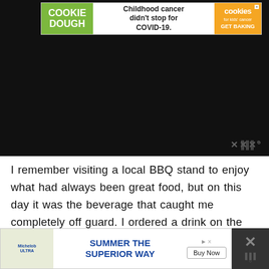[Figure (screenshot): Dark video player area with watermark logo at bottom right]
[Figure (infographic): Cookie Dough advertisement banner: green left section reading COOKIE DOUGH, center text Childhood cancer didn't stop for COVID-19., orange right section with cookies for kids cancer logo and GET BAKING call to action]
I remember visiting a local BBQ stand to enjoy what had always been great food, but on this day it was the beverage that caught me completely off guard. I ordered a drink on the menu called an Arnold Palmer and my outlook on sweet tea was
[Figure (infographic): Bottom advertisement banner: Michelob Ultra Summer The Superior Way with Buy Now button and close X button]